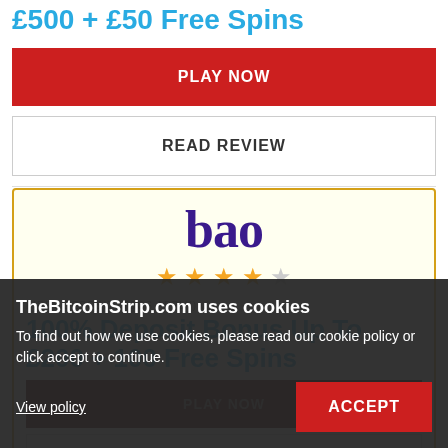£500 + £50 Free Spins
PLAY NOW
READ REVIEW
[Figure (logo): bao casino logo in purple serif font with 4 out of 5 stars rating]
FIRST DEPOSIT (T&CS APPLY)
100% Deposit Bonus Up To £200 + 100 Free Spins
PLAY NOW
READ REVIEW
TheBitcoinStrip.com uses cookies
To find out how we use cookies, please read our cookie policy or click accept to continue.
View policy
ACCEPT